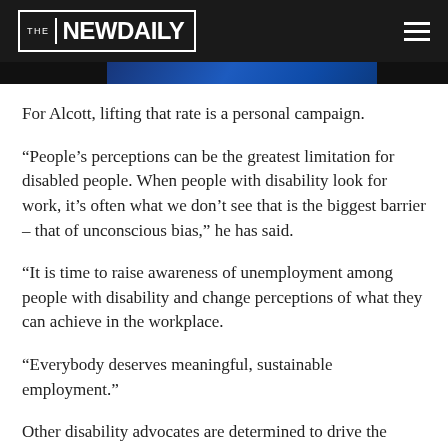THE NEW DAILY
[Figure (photo): Partial blue image strip visible below the header navigation bar]
For Alcott, lifting that rate is a personal campaign.
“People’s perceptions can be the greatest limitation for disabled people. When people with disability look for work, it’s often what we don’t see that is the biggest barrier – that of unconscious bias,” he has said.
“It is time to raise awareness of unemployment among people with disability and change perceptions of what they can achieve in the workplace.
“Everybody deserves meaningful, sustainable employment.”
Other disability advocates are determined to drive the changing, hoping a new initiative will boost numbers and